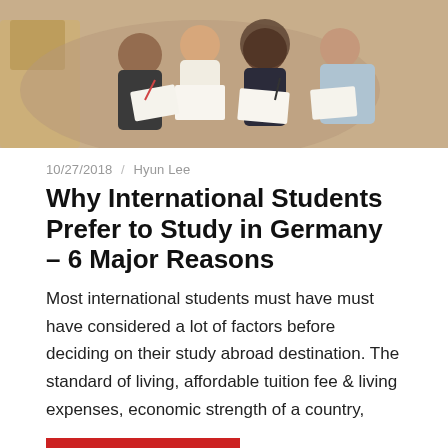[Figure (photo): Group of international students sitting together outdoors, looking at papers and notebooks, diverse group of young people studying together]
10/27/2018 / Hyun Lee
Why International Students Prefer to Study in Germany – 6 Major Reasons
Most international students must have must have considered a lot of factors before deciding on their study abroad destination. The standard of living, affordable tuition fee & living expenses, economic strength of a country,
Continue reading »
-